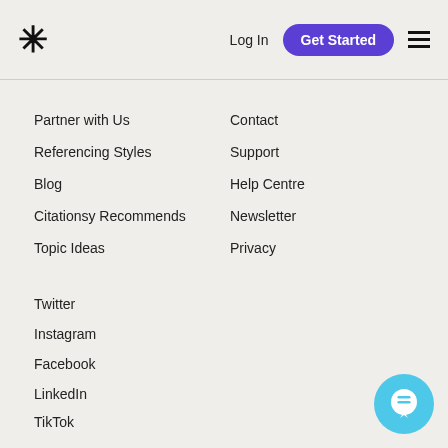* Log In  Get Started ☰
Partner with Us
Referencing Styles
Blog
Citationsy Recommends
Topic Ideas
Contact
Support
Help Centre
Newsletter
Privacy
Twitter
Instagram
Facebook
LinkedIn
TikTok
YouTube
[Figure (illustration): Cyan chat bubble icon with speech/message symbol, positioned bottom-right corner]